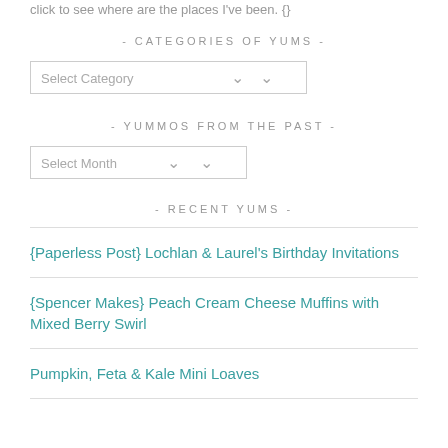click to see where are the places I've been. {}
- CATEGORIES OF YUMS -
[Figure (screenshot): Dropdown select box labeled 'Select Category']
- YUMMOS FROM THE PAST -
[Figure (screenshot): Dropdown select box labeled 'Select Month']
- RECENT YUMS -
{Paperless Post} Lochlan & Laurel's Birthday Invitations
{Spencer Makes} Peach Cream Cheese Muffins with Mixed Berry Swirl
Pumpkin, Feta & Kale Mini Loaves